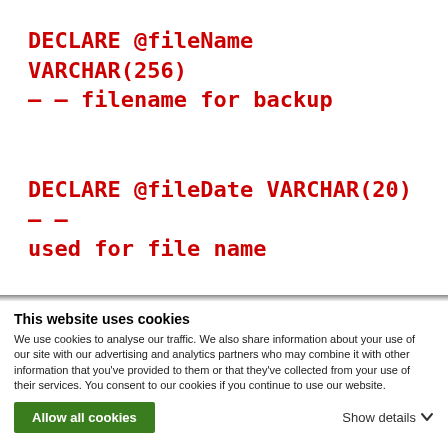DECLARE @fileName VARCHAR(256) – – filename for backup
DECLARE @fileDate VARCHAR(20) – – used for file name
This website uses cookies
We use cookies to analyse our traffic. We also share information about your use of our site with our advertising and analytics partners who may combine it with other information that you've provided to them or that they've collected from your use of their services. You consent to our cookies if you continue to use our website.
Allow all cookies
Show details